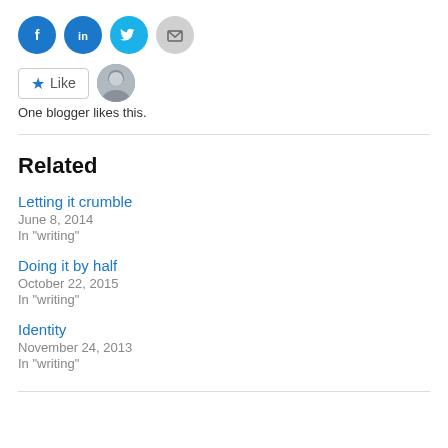[Figure (infographic): Social sharing icons: Facebook (blue circle), LinkedIn (blue circle), Twitter (light blue circle), Email (grey circle)]
[Figure (infographic): Like button with star icon and blogger avatar photo. Text: One blogger likes this.]
One blogger likes this.
Related
Letting it crumble
June 8, 2014
In "writing"
Doing it by half
October 22, 2015
In "writing"
Identity
November 24, 2013
In "writing"